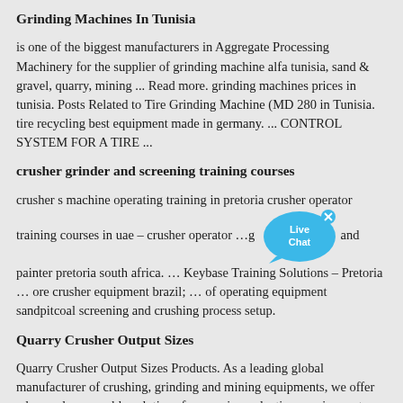Grinding Machines In Tunisia
is one of the biggest manufacturers in Aggregate Processing Machinery for the supplier of grinding machine alfa tunisia, sand & gravel, quarry, mining ... Read more. grinding machines prices in tunisia. Posts Related to Tire Grinding Machine (MD 280 in Tunisia. tire recycling best equipment made in germany. ... CONTROL SYSTEM FOR A TIRE ...
crusher grinder and screening training courses
crusher s machine operating training in pretoria crusher operator training courses in uae – crusher operator …g and painter pretoria south africa. … Keybase Training Solutions – Pretoria … ore crusher equipment brazil; … of operating equipment sandpitcoal screening and crushing process setup.
[Figure (illustration): Live Chat bubble icon with blue speech bubble and 'x' close button]
Quarry Crusher Output Sizes
Quarry Crusher Output Sizes Products. As a leading global manufacturer of crushing, grinding and mining equipments, we offer advanced, reasonable solutions for any size-reduction requirements including, Quarry Crusher Output Sizes, quarry, aggregate, and different kinds of minerals.
large cement clinker dust catcher in Warri Nigeria Africa ...
2020-4-2 · large cement clinker dust catcher in Warri Nigeria Africa,Sousse Tunisia Africa tangible benefits new coal mobile crusher for saleSousse Tunisia Africa low price large